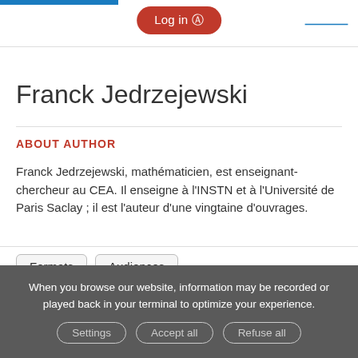Log in
Franck Jedrzejewski
ABOUT AUTHOR
Franck Jedrzejewski, mathématicien, est enseignant-chercheur au CEA. Il enseigne à l'INSTN et à l'Université de Paris Saclay ; il est l'auteur d'une vingtaine d'ouvrages.
Formats   Audiences
When you browse our website, information may be recorded or played back in your terminal to optimize your experience.